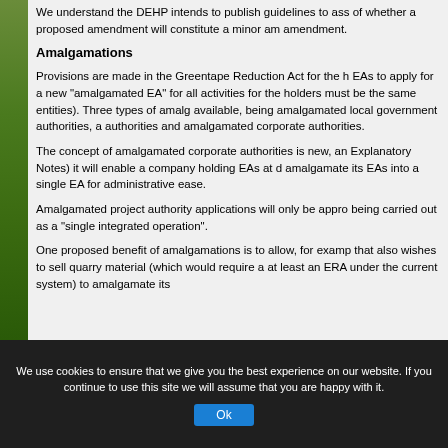We understand the DEHP intends to publish guidelines to ass of whether a proposed amendment will constitute a minor am amendment.
Amalgamations
Provisions are made in the Greentape Reduction Act for the h EAs to apply for a new "amalgamated EA" for all activities for the holders must be the same entities). Three types of amalg available, being amalgamated local government authorities, a authorities and amalgamated corporate authorities.
The concept of amalgamated corporate authorities is new, an Explanatory Notes) it will enable a company holding EAs at d amalgamate its EAs into a single EA for administrative ease.
Amalgamated project authority applications will only be appro being carried out as a "single integrated operation".
One proposed benefit of amalgamations is to allow, for examp that also wishes to sell quarry material (which would require a at least an ERA under the current system) to amalgamate its
We use cookies to ensure that we give you the best experience on our website. If you continue to use this site we will assume that you are happy with it.